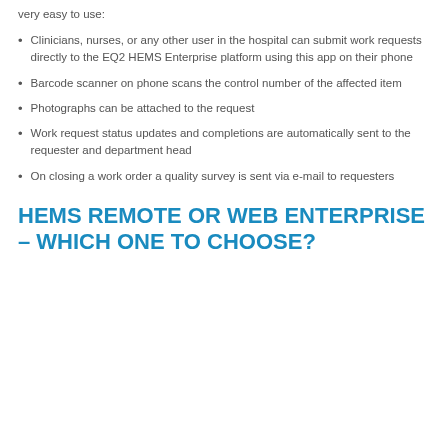very easy to use:
Clinicians, nurses, or any other user in the hospital can submit work requests directly to the EQ2 HEMS Enterprise platform using this app on their phone
Barcode scanner on phone scans the control number of the affected item
Photographs can be attached to the request
Work request status updates and completions are automatically sent to the requester and department head
On closing a work order a quality survey is sent via e-mail to requesters
HEMS REMOTE OR WEB ENTERPRISE – WHICH ONE TO CHOOSE?